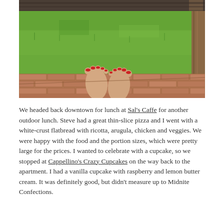[Figure (photo): Outdoor photo of a person's feet with red toenails resting on a brick/paver patio, with a green grassy yard in the background and a wooden fence in the far background.]
We headed back downtown for lunch at Sal's Caffe for another outdoor lunch. Steve had a great thin-slice pizza and I went with a white-crust flatbread with ricotta, arugula, chicken and veggies. We were happy with the food and the portion sizes, which were pretty large for the prices. I wanted to celebrate with a cupcake, so we stopped at Cappellino's Crazy Cupcakes on the way back to the apartment. I had a vanilla cupcake with raspberry and lemon butter cream. It was definitely good, but didn't measure up to Midnite Confections.